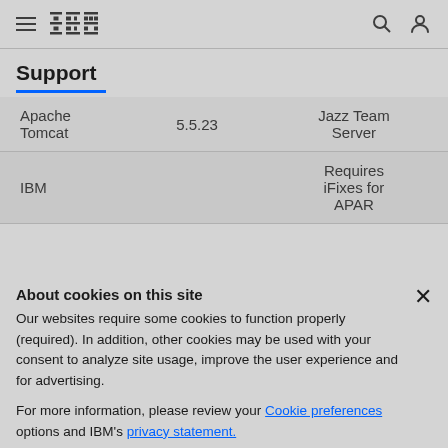IBM Support
Support
|  |  |  |
| --- | --- | --- |
| Apache Tomcat | 5.5.23 | Jazz Team Server |
| IBM |  | Requires iFixes for APAR |
About cookies on this site
Our websites require some cookies to function properly (required). In addition, other cookies may be used with your consent to analyze site usage, improve the user experience and for advertising.
For more information, please review your Cookie preferences options and IBM's privacy statement.